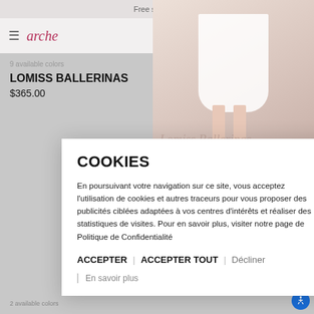Free shipping
[Figure (screenshot): Arche brand website showing navigation bar with hamburger menu, arche logo in pink/red, and icons for search, account, and cart]
9 available colors
LOMISS BALLERINAS
$365.00
[Figure (photo): Product photo showing legs wearing white skirt and colorful sneakers/ballerinas against pink background]
Subscription to arche newsletter
Suscribe and receive news about Maison A
COOKIES
En poursuivant votre navigation sur ce site, vous acceptez l'utilisation de cookies et autres traceurs pour vous proposer des publicités ciblées adaptées à vos centres d'intérêts et réaliser des statistiques de visites. Pour en savoir plus, visiter notre page de Politique de Confidentialité
ACCEPTER | ACCEPTER TOUT | Décliner
En savoir plus
ment, refe
Sales Cond